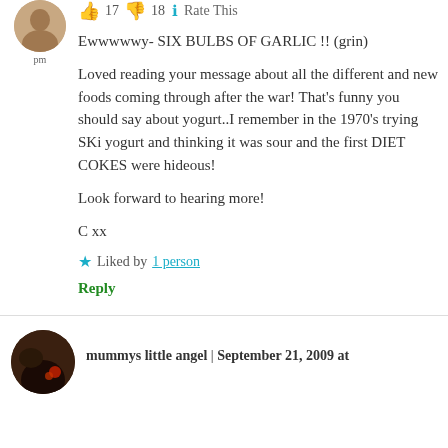👍 17 👎 18 ℹ Rate This
Ewwwwwy- SIX BULBS OF GARLIC !! (grin)

Loved reading your message about all the different and new foods coming through after the war! That's funny you should say about yogurt..I remember in the 1970's trying SKi yogurt and thinking it was sour and the first DIET COKES were hideous!

Look forward to hearing more!

C xx
★ Liked by 1 person
Reply
mummys little angel | September 21, 2009 at